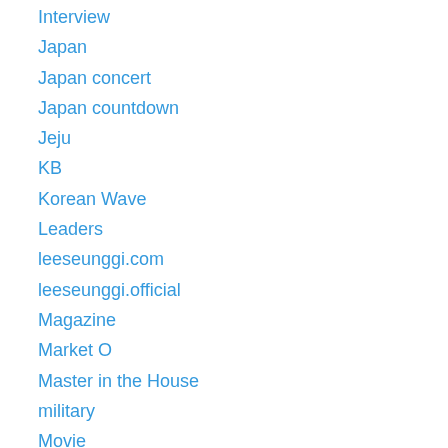Interview
Japan
Japan concert
Japan countdown
Jeju
KB
Korean Wave
Leaders
leeseunggi.com
leeseunggi.official
Magazine
Market O
Master in the House
military
Movie
Music Video
Na PD
Narration
News
Nuna over Flowers